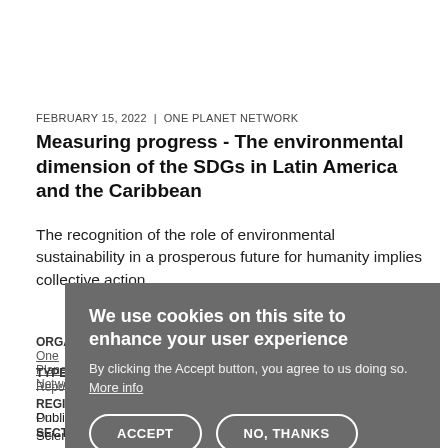FEBRUARY 15, 2022  |  ONE PLANET NETWORK
Measuring progress - The environmental dimension of the SDGs in Latin America and the Caribbean
The recognition of the role of environmental sustainability in a prosperous future for humanity implies collective action.
ORGANISATION:
One Planet Network
TYPE:
Report
REGIONS:
One ...
SECTORS:
Public Procurement, Environmental Services,
Scientific Research, Development and Innovation, Industrial Sector
We use cookies on this site to enhance your user experience
By clicking the Accept button, you agree to us doing so. More info
ACCEPT    NO, THANKS